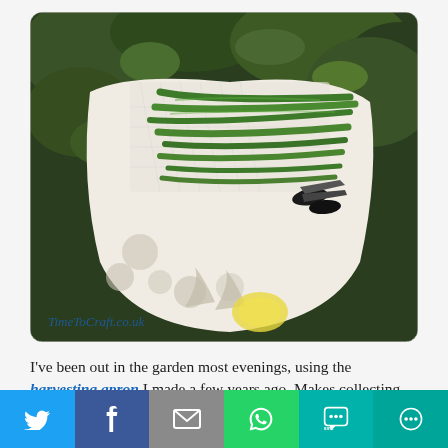[Figure (photo): A white fabric harvesting apron filled with green runner beans, with garden scissors visible, set against a leafy garden background. Watermark reads 'TimeToCraft.co.uk' in cursive text at lower left.]
I've been out in the garden most evenings, using the harvesting apron I made a few years ago. Makes collecting beans so much easier, than repositioning a trug or basket along the lines. The sweetcorn has
Twitter | Facebook | Email | WhatsApp | SMS | More